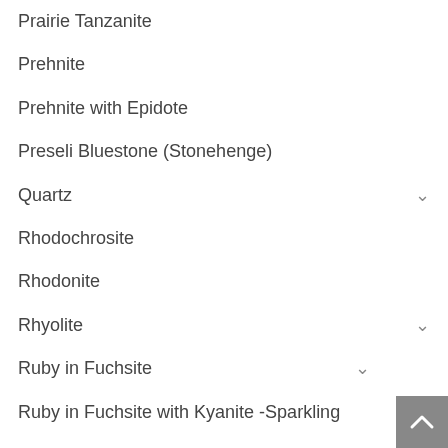Prairie Tanzanite
Prehnite
Prehnite with Epidote
Preseli Bluestone (Stonehenge)
Quartz
Rhodochrosite
Rhodonite
Rhyolite
Ruby in Fuchsite
Ruby in Fuchsite with Kyanite -Sparkling
Ruby in Kyanite
Sapphire
Schorl (Black Tourmaline)